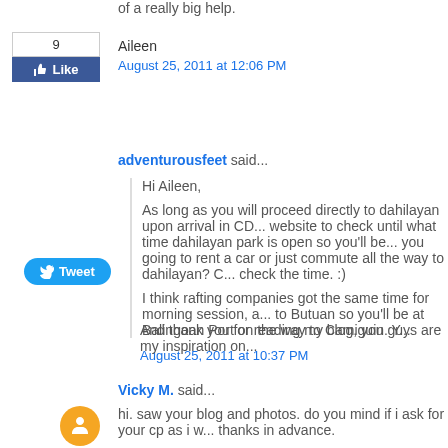[Figure (other): Facebook Like button widget showing count of 9]
[Figure (other): Twitter Tweet button widget]
Aileen
August 25, 2011 at 12:06 PM
adventurousfeet said...
Hi Aileen,

As long as you will proceed directly to dahilayan upon arrival in CD... website to check until what time dahilayan park is open so you'll be... you going to rent a car or just commute all the way to dahilayan? C... check the time. :)

I think rafting companies got the same time for morning session, a... to Butuan so you'll be at Balingoan Port on the way to Camiguin. Y...

And thank you for reading my blog, you guys are my inspiration on...
August 25, 2011 at 10:37 PM
Vicky M. said...
hi. saw your blog and photos. do you mind if i ask for your cp as i w... thanks in advance.